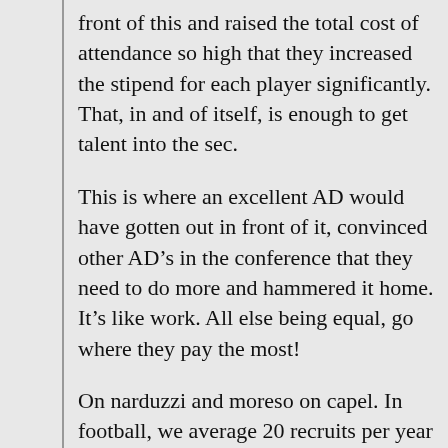front of this and raised the total cost of attendance so high that they increased the stipend for each player significantly. That, in and of itself, is enough to get talent into the sec.
This is where an excellent AD would have gotten out in front of it, convinced other AD’s in the conference that they need to do more and hammered it home. It’s like work. All else being equal, go where they pay the most!
On narduzzi and moreso on capel. In football, we average 20 recruits per year with 10 assistant coaches and another 10 assistant to the assistants. What is our return on investment per coach? What do they do in the offseason? BBall even crazier. Average recruiting class size is 3-4 players. We have 4 coaches and a bunch of